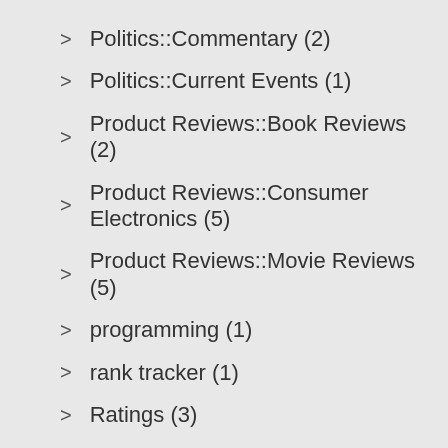Politics::Commentary (2)
Politics::Current Events (1)
Product Reviews::Book Reviews (2)
Product Reviews::Consumer Electronics (5)
Product Reviews::Movie Reviews (5)
programming (1)
rank tracker (1)
Ratings (3)
real estate (2)
recreation (62)
Recreation & Sports::Biking (13)
Recreation & Sports::Martial Arts (3)